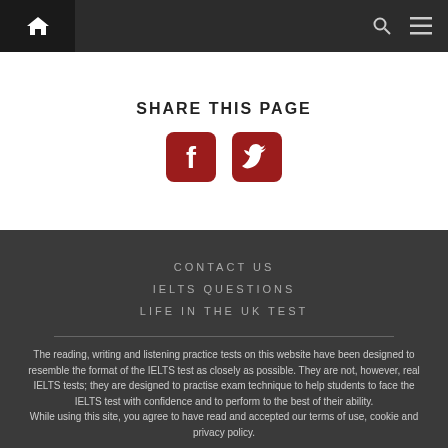Home | Search | Menu
SHARE THIS PAGE
[Figure (illustration): Facebook and Twitter share icons (red rounded square buttons)]
CONTACT US
IELTS QUESTIONS
LIFE IN THE UK TEST
The reading, writing and listening practice tests on this website have been designed to resemble the format of the IELTS test as closely as possible. They are not, however, real IELTS tests; they are designed to practise exam technique to help students to face the IELTS test with confidence and to perform to the best of their ability.
While using this site, you agree to have read and accepted our terms of use, cookie and privacy policy.